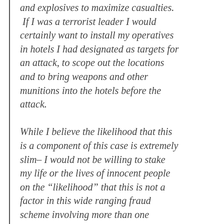and explosives to maximize casualties. If I was a terrorist leader I would certainly want to install my operatives in hotels I had designated as targets for an attack, to scope out the locations and to bring weapons and other munitions into the hotels before the attack.
While I believe the likelihood that this is a component of this case is extremely slim– I would not be willing to stake my life or the lives of innocent people on the “likelihood” that this is not a factor in this wide ranging fraud scheme involving more than one thousand illegal aliens.  Has anyone at DHS, the Department of Homeland...